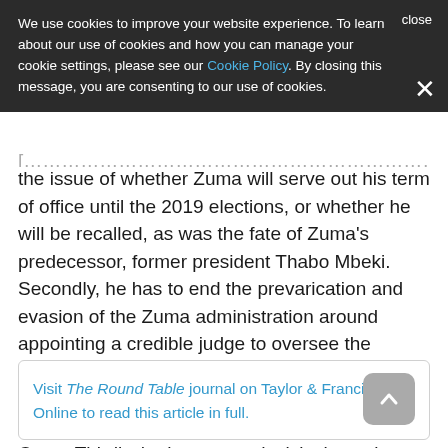We use cookies to improve your website experience. To learn about our use of cookies and how you can manage your cookie settings, please see our Cookie Policy. By closing this message, you are consenting to our use of cookies.
the issue of whether Zuma will serve out his term of office until the 2019 elections, or whether he will be recalled, as was the fate of Zuma's predecessor, former president Thabo Mbeki. Secondly, he has to end the prevarication and evasion of the Zuma administration around appointing a credible judge to oversee the commission of inquiry into the theft of state assets, as was ordered by the former Public Protector and re-affirmed by the Constitutional Court. Thirdly, he has to act decisively against corruption.
Visit The Round Table journal on Taylor & Francis Online to read this article in full.